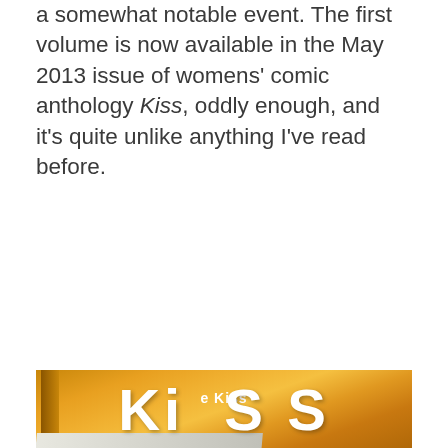a somewhat notable event. The first volume is now available in the May 2013 issue of womens' comic anthology Kiss, oddly enough, and it's quite unlike anything I've read before.
[Figure (photo): Photo of a comic anthology magazine titled 'Kiss' with orange/yellow cover, showing the large white KISS lettering, placed on a wooden surface.]